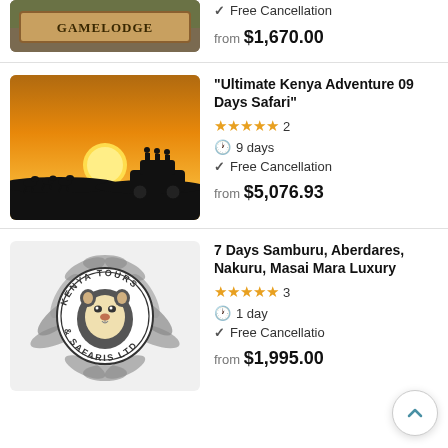[Figure (photo): Partial view of a game lodge sign with text GAMELODGE visible]
Free Cancellation
from $1,670.00
"Ultimate Kenya Adventure 09 Days Safari"
[Figure (photo): Safari sunset photo showing silhouettes of animals and a vehicle against an orange sky with the sun on the horizon]
★★★★★ 2
9 days
Free Cancellation
from $5,076.93
7 Days Samburu, Aberdares, Nakuru, Masai Mara Luxury
[Figure (logo): Kenya Tours & Safaris Ltd circular logo with a lion head in the center and palm/tropical leaves around the border]
★★★★★ 3
1 day
Free Cancellation
from $1,995.00